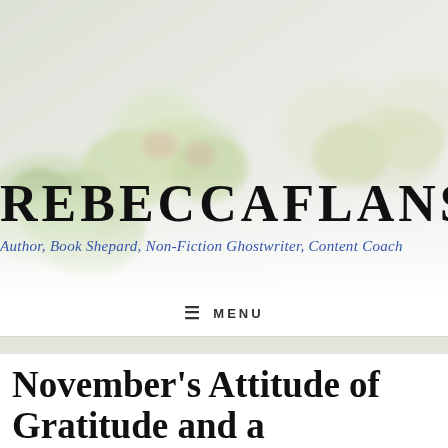[Figure (photo): Background photo of green succulent plants with blurred bokeh effect, used as the website header image]
REBECCAFLANS
Author, Book Shepard, Non-Fiction Ghostwriter, Content Coach
≡ MENU
November's Attitude of Gratitude and a #DiverseKidLit Linkup